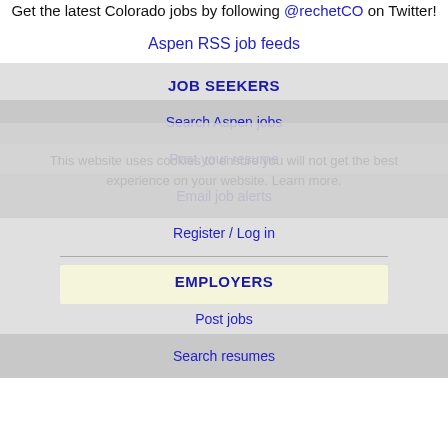Get the latest Colorado jobs by following @rechetCO on Twitter!
Aspen RSS job feeds
JOB SEEKERS
Search Aspen jobs
Post your resume
Email job alerts
Register / Log in
EMPLOYERS
Post jobs
Search resumes